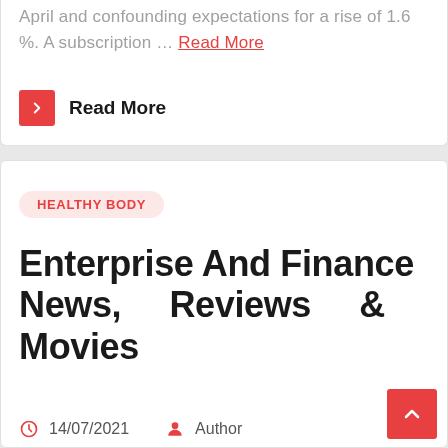April and confounding expectations for a rise of 1.6 %. A subscription … Read More
Read More
HEALTHY BODY
Enterprise And Finance News, Reviews & Movies
14/07/2021   Author